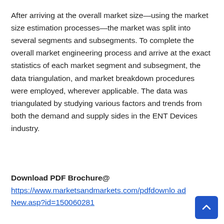After arriving at the overall market size—using the market size estimation processes—the market was split into several segments and subsegments. To complete the overall market engineering process and arrive at the exact statistics of each market segment and subsegment, the data triangulation, and market breakdown procedures were employed, wherever applicable. The data was triangulated by studying various factors and trends from both the demand and supply sides in the ENT Devices industry.
Download PDF Brochure@ https://www.marketsandmarkets.com/pdfdownloadNew.asp?id=150060281